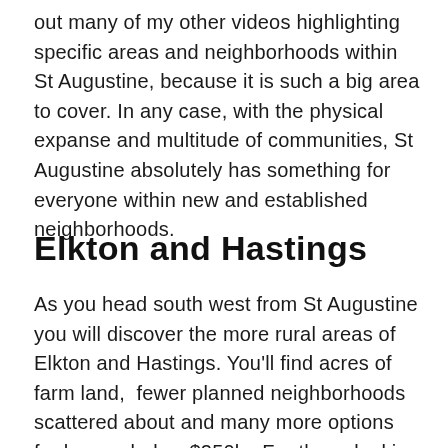out many of my other videos highlighting specific areas and neighborhoods within St Augustine, because it is such a big area to cover. In any case, with the physical expanse and multitude of communities, St Augustine absolutely has something for everyone within new and established neighborhoods.
Elkton and Hastings
As you head south west from St Augustine you will discover the more rural areas of Elkton and Hastings. You'll find acres of farm land,  fewer planned neighborhoods scattered about and many more options for homes below $250k.  For those looking to experience the “Olde Florida” lifestyle,